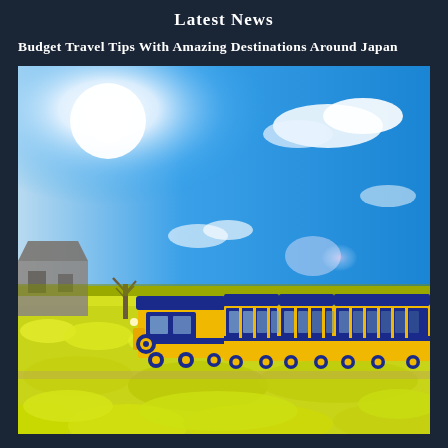Latest News
Budget Travel Tips With Amazing Destinations Around Japan
[Figure (photo): A colorful blue and yellow tourist train riding through a vast field of bright yellow rapeseed (canola) flowers under a vivid blue sky with white clouds. A building and bare tree are visible on the left. Sunlight creates a lens flare in the upper left corner.]